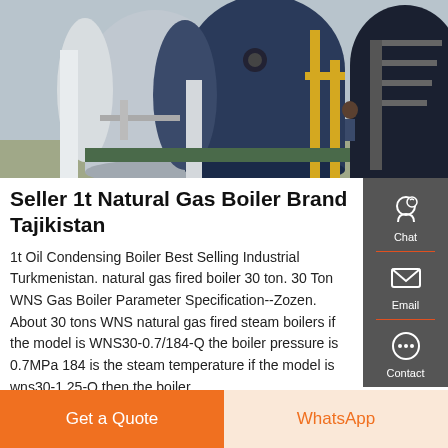[Figure (photo): Industrial boilers installation — large cylindrical blue and grey gas boilers with yellow piping, stairs, and supporting structures in a factory setting]
Seller 1t Natural Gas Boiler Brand Tajikistan
1t Oil Condensing Boiler Best Selling Industrial Turkmenistan. natural gas fired boiler 30 ton. 30 Ton WNS Gas Boiler Parameter Specification--Zozen. About 30 tons WNS natural gas fired steam boilers if the model is WNS30-0.7/184-Q the boiler pressure is 0.7MPa 184 is the steam temperature if the model is wns30-1.25-Q then the boiler